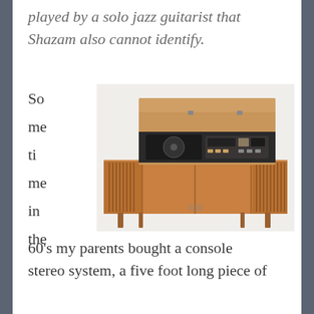played by a solo jazz guitarist that Shazam also cannot identify.
[Figure (photo): Mid-century modern console stereo system with wood veneer cabinet, slatted speaker grilles on both sides, and open lid revealing turntable and controls inside]
Sometime in the 60’s my parents bought a console stereo system, a five foot long piece of